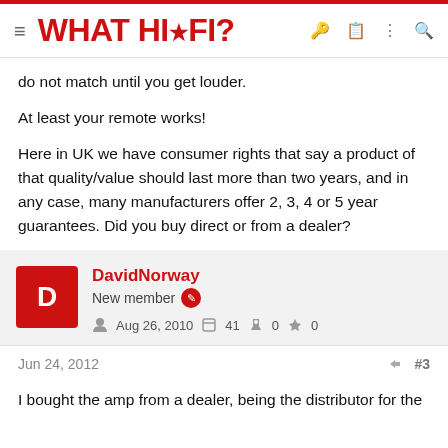WHAT HI·FI?
do not match until you get louder.
At least your remote works!
Here in UK we have consumer rights that say a product of that quality/value should last more than two years, and in any case, many manufacturers offer 2, 3, 4 or 5 year guarantees. Did you buy direct or from a dealer?
DavidNorway
New member
Aug 26, 2010   41   0   0
Jun 24, 2012   #3
I bought the amp from a dealer, being the distributor for the